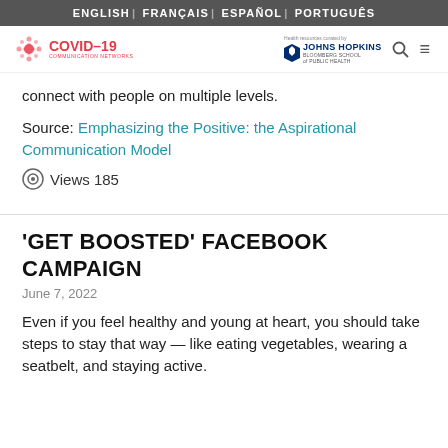ENGLISH | FRANÇAIS | ESPAÑOL | PORTUGUÊS
[Figure (logo): COVID-19 Communication Networks logo with Johns Hopkins Bloomberg School of Public Health branding, search icon, and menu icon]
connect with people on multiple levels.
Source: Emphasizing the Positive: the Aspirational Communication Model
Views 185
'GET BOOSTED' FACEBOOK CAMPAIGN
June 7, 2022
Even if you feel healthy and young at heart, you should take steps to stay that way — like eating vegetables, wearing a seatbelt, and staying active.